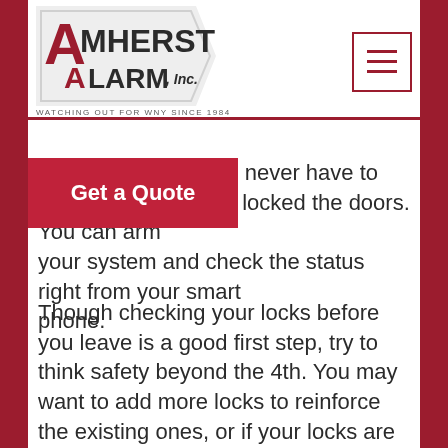Amherst Alarm, Inc. — Watching out for WNY since 1984
Anet Interactive, you never have to wonder whether you locked the doors. You can arm your system and check the status right from your smart phone.
Though checking your locks before you leave is a good first step, try to think safety beyond the 4th. You may want to add more locks to reinforce the existing ones, or if your locks are already old, you might want to consider replacing them. Finally, smart locks are becoming commonplace. Smart locks are Wi-Fi connected locks that cannot be picked like traditional locks. Smart locks use knowledge-based authentication like PIN codes set by the owner. Some smart locks notify you if someone tries to tamper with the lock in any way.